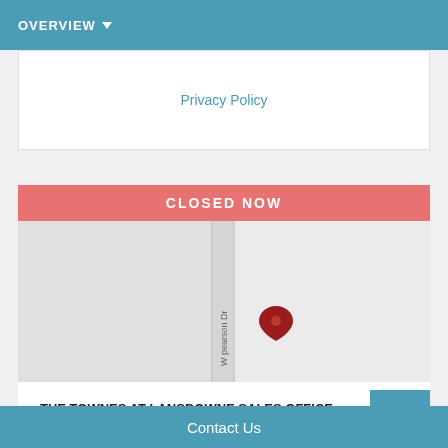OVERVIEW
Privacy Policy
CLOSED NOW
[Figure (map): Google Maps showing location with red pin marker near W pearson Dr street. Map data ©2022.]
THE TOWNES AT LANSDOWNNE SALES OFFICE
Contact Us